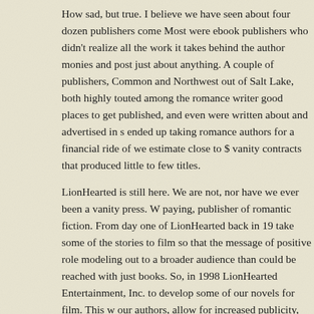How sad, but true. I believe we have seen about four dozen publishers come and go. Most were ebook publishers who didn't realize all the work it takes behind the scenes to collect author monies and post just about anything. A couple of publishers, CommonSense and Northwest out of Salt Lake, both highly touted among the romance writers as good places to get published, and even were written about and advertised in several venues, ended up taking romance authors for a financial ride of we estimate close to $1 million in vanity contracts that produced little to few titles.
LionHearted is still here. We are not, nor have we ever been a vanity press. We are an advance paying, publisher of romantic fiction. From day one of LionHearted back in 1994, we wanted to take some of the stories to film so that the message of positive role modeling could be carried out to a broader audience than could be reached with just books. So, in 1998 we formed LionHearted Entertainment, Inc. to develop some of our novels for film. This will benefit our authors, allow for increased publicity, advantages and longevity to all of our novels.
Is there any other news you wish to share about LionHearted?
LionHearted Entertainment will produce motion pictures that are entertaining, uplifting and enlightening. Pictures that tell great stories and challenge and uplift the human spirit. We invest in the motion picture production and return maximum profits to our growing number of authors. Accordingly, we will produce only pictures that contain the ad campaign elements...